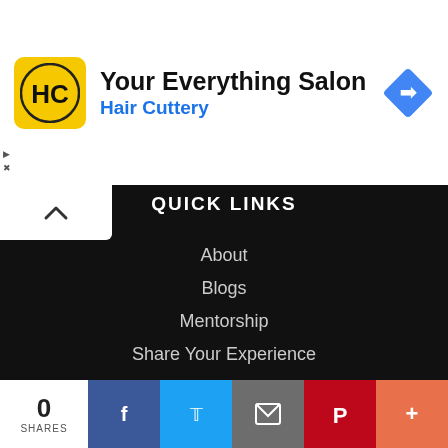[Figure (logo): Hair Cuttery advertisement banner with HC logo, 'Your Everything Salon' headline, 'Hair Cuttery' brand name in blue, and a blue navigation/directions diamond icon on the right.]
QUICK LINKS
About
Blogs
Mentorship
Share Your Experience
Refine Your Application Essay
CONTACT US
contact@oyaschool.com
[Figure (screenshot): Social sharing bar at the bottom with share count (0 SHARES), Facebook, Twitter, Email, Pinterest, and More buttons.]